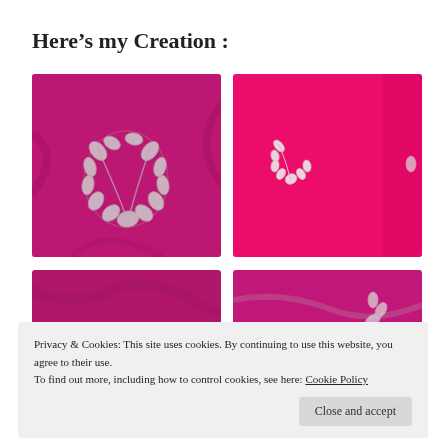Here’s my Creation :
[Figure (photo): Close-up photo of magenta/pink fabric with silver embroidered floral wreath motif]
[Figure (photo): Close-up photo of bright pink/fuchsia fabric with white embroidered floral motif, partially cut off on right]
[Figure (photo): Partially visible photo of pink fabric, bottom portion obscured by cookie banner]
[Figure (photo): Partially visible photo of pink fabric with embroidery, bottom portion obscured by cookie banner]
Privacy & Cookies: This site uses cookies. By continuing to use this website, you agree to their use.
To find out more, including how to control cookies, see here: Cookie Policy